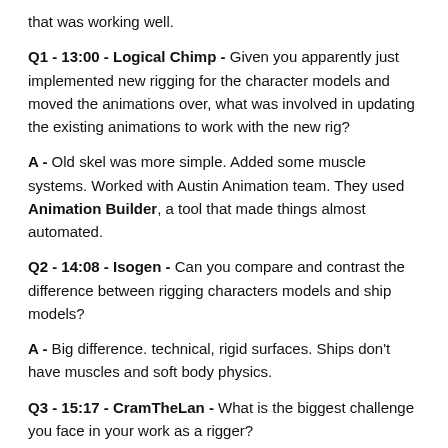that was working well.
Q1 - 13:00 - Logical Chimp - Given you apparently just implemented new rigging for the character models and moved the animations over, what was involved in updating the existing animations to work with the new rig?
A - Old skel was more simple. Added some muscle systems. Worked with Austin Animation team. They used Animation Builder, a tool that made things almost automated.
Q2 - 14:08 - Isogen - Can you compare and contrast the difference between rigging characters models and ship models?
A - Big difference. technical, rigid surfaces. Ships don't have muscles and soft body physics.
Q3 - 15:17 - CramTheLan - What is the biggest challenge you face in your work as a rigger?